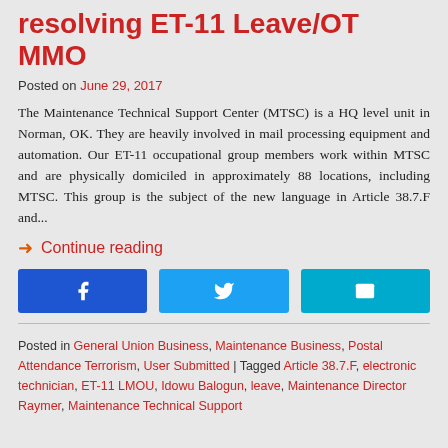resolving ET-11 Leave/OT MMO
Posted on June 29, 2017
The Maintenance Technical Support Center (MTSC) is a HQ level unit in Norman, OK. They are heavily involved in mail processing equipment and automation. Our ET-11 occupational group members work within MTSC and are physically domiciled in approximately 88 locations, including MTSC. This group is the subject of the new language in Article 38.7.F and...
➜ Continue reading
Posted in General Union Business, Maintenance Business, Postal Attendance Terrorism, User Submitted | Tagged Article 38.7.F, electronic technician, ET-11 LMOU, Idowu Balogun, leave, Maintenance Director Raymer, Maintenance Technical Support